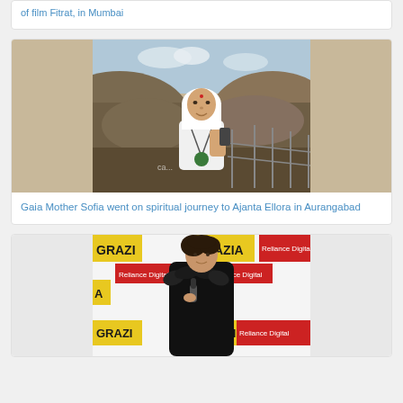of film Fitrat, in Mumbai
[Figure (photo): Woman wearing white headscarf and white outfit with green necklace, taking a selfie outdoors with hilly terrain in background. Watermark 'ca...' visible.]
Gaia Mother Sofia went on spiritual journey to Ajanta Ellora in Aurangabad
[Figure (photo): Woman in black feathered outfit posing at Grazia event with Reliance Digital branded backdrop showing GRAZIA and Reliance Digital logos repeated.]